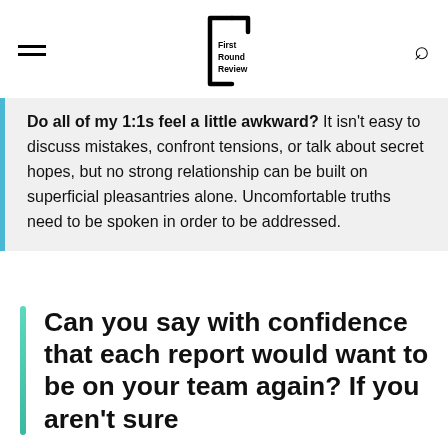First Round Review
Do all of my 1:1s feel a little awkward? It isn't easy to discuss mistakes, confront tensions, or talk about secret hopes, but no strong relationship can be built on superficial pleasantries alone. Uncomfortable truths need to be spoken in order to be addressed.
Can you say with confidence that each report would want to be on your team again? If you aren't sure